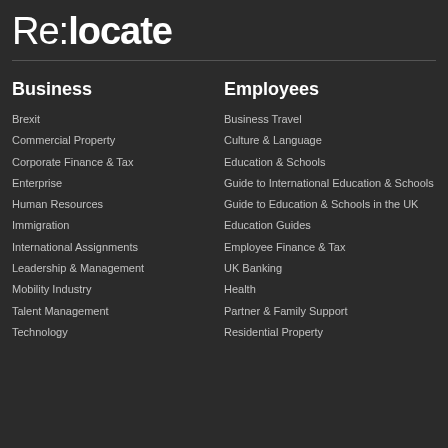Re:locate
Business
Brexit
Commercial Property
Corporate Finance & Tax
Enterprise
Human Resources
Immigration
International Assignments
Leadership & Management
Mobility Industry
Talent Management
Technology
Employees
Business Travel
Culture & Language
Education & Schools
Guide to International Education & Schools
Guide to Education & Schools in the UK
Education Guides
Employee Finance & Tax
UK Banking
Health
Partner & Family Support
Residential Property